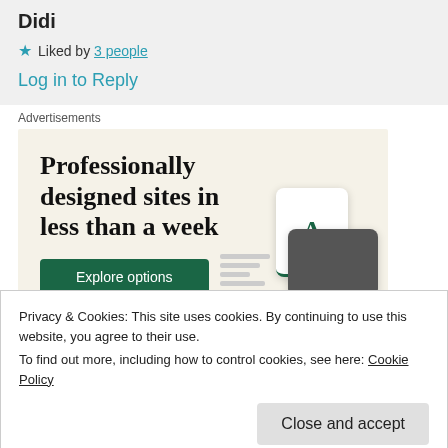Didi
★ Liked by 3 people
Log in to Reply
Advertisements
[Figure (illustration): Advertisement banner with beige background showing the text 'Professionally designed sites in less than a week', a green 'Explore options' button, and a mock-up of a website card with letter A and a dark device.]
Privacy & Cookies: This site uses cookies. By continuing to use this website, you agree to their use.
To find out more, including how to control cookies, see here: Cookie Policy
Close and accept